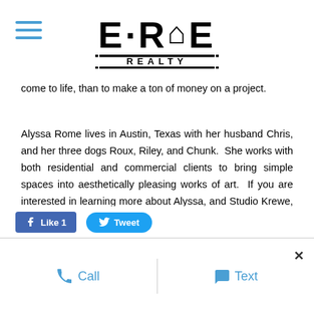E·RAE REALTY
come to life, than to make a ton of money on a project.
Alyssa Rome lives in Austin, Texas with her husband Chris, and her three dogs Roux, Riley, and Chunk.  She works with both residential and commercial clients to bring simple spaces into aesthetically pleasing works of art.  If you are interested in learning more about Alyssa, and Studio Krewe, please visit studiokrewedesign.com
Call  Text